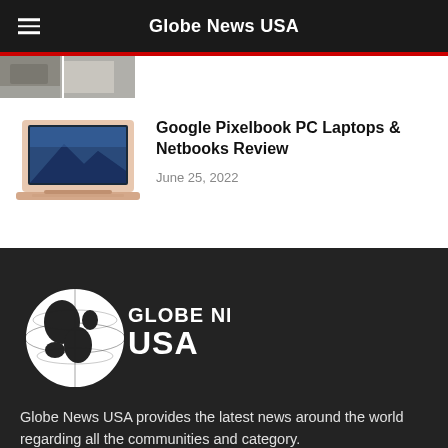Globe News USA
[Figure (photo): Partial photo strip at top of page, partially visible]
[Figure (photo): Google Pixelbook laptop thumbnail image, rose gold color]
Google Pixelbook PC Laptops & Netbooks Review
June 25, 2022
[Figure (logo): Globe News USA logo — white globe with continents and GLOBE NEWS USA text]
Globe News USA provides the latest news around the world regarding all the communities and category.
Contact us: admin@globenewsusa.com